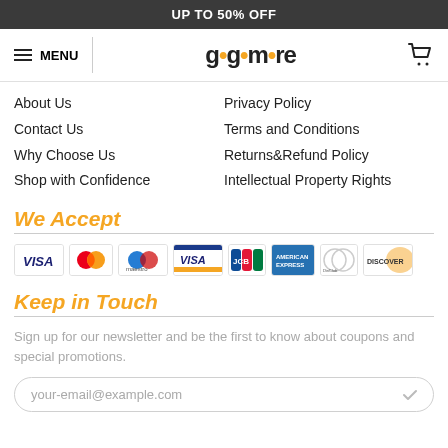UP TO 50% OFF
[Figure (logo): gogomore logo with yellow dots, menu icon, and cart icon]
About Us
Contact Us
Why Choose Us
Shop with Confidence
Privacy Policy
Terms and Conditions
Returns&Refund Policy
Intellectual Property Rights
We Accept
[Figure (illustration): Payment method logos: VISA, Mastercard, VISA electron, JCB, American Express, Diners Club, Discover]
Keep in Touch
Sign up for our newsletter and be the first to know about coupons and special promotions.
your-email@example.com